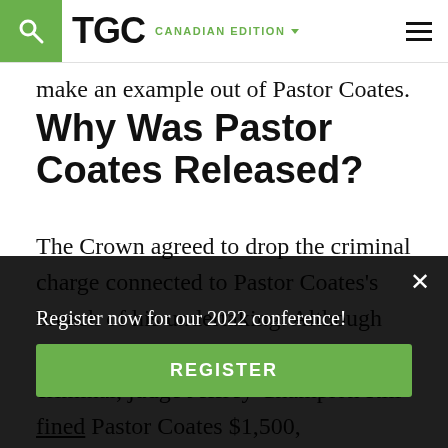TGC CANADIAN EDITION
make an example out of Pastor Coates.
Why Was Pastor Coates Released?
The Crown agreed to drop the criminal charge connected to Pastor Coates's breach of his undertaking. Although the charge he faced was no longer criminal, judge Jeffrey Champion still fined Pastor Coates $1,500,
Register now for our 2022 conference!
REGISTER